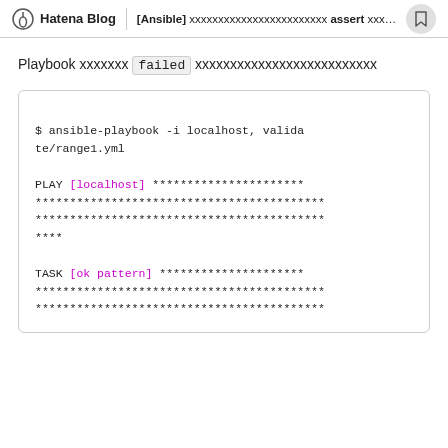Hatena Blog | [Ansible] xxxxxxxxxxxxxxxx assert xxxx...
Playbook xxxxxxx failed xxxxxxxxxxxxxxxxxx
$ ansible-playbook -i localhost, validate/range1.yml

PLAY [localhost] **********************
******************************************
******************************************
****

TASK [ok pattern] *********************
******************************************
******************************************